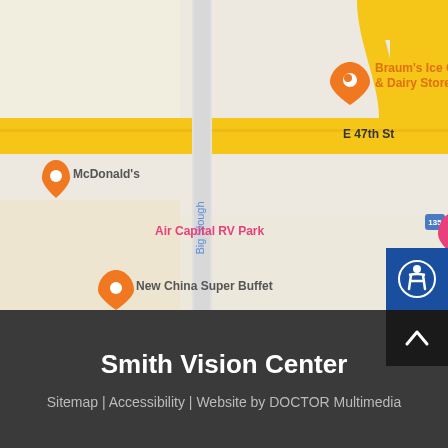[Figure (map): Google Maps screenshot showing area around E 47th St S in Wichita, KS. Visible landmarks include Braum's Ice Cream & Dairy Store, McDonald's, Arby's, Air Capital RV Park, New China Super Buffet, IHOP, Toll Plaza. Big Slough waterway runs through the center. Highway interchange visible on right.]
Smith Vision Center
Sitemap | Accessibility | Website by DOCTOR Multimedia